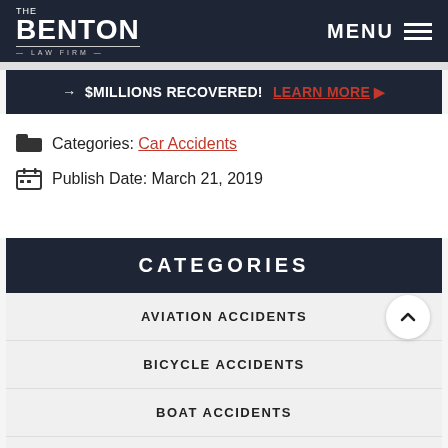The Benton Law Firm | MENU
→ $MILLIONS RECOVERED! LEARN MORE ▶
Categories: Car Accidents
Publish Date: March 21, 2019
CATEGORIES
AVIATION ACCIDENTS
BICYCLE ACCIDENTS
BOAT ACCIDENTS
BRAIN INJURIES